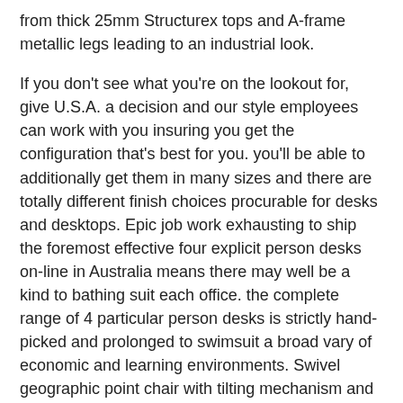from thick 25mm Structurex tops and A-frame metallic legs leading to an industrial look.
If you don't see what you're on the lookout for, give U.S.A. a decision and our style employees can work with you insuring you get the configuration that's best for you. you'll be able to additionally get them in many sizes and there are totally different finish choices procurable for desks and desktops. Epic job work exhausting to ship the foremost effective four explicit person desks on-line in Australia means there may well be a kind to bathing suit each office. the complete range of 4 particular person desks is strictly hand-picked and prolonged to swimsuit a broad vary of economic and learning environments. Swivel geographic point chair with tilting mechanism and adjustable body part assist in top.
As new scenario This signifies that just in case you've got broken the product, we'll be unable to simply settle for your come back. Moreover, we tend to willnot accept returns for merchandise that has been already assembled, till it arrives pre-assembled. send